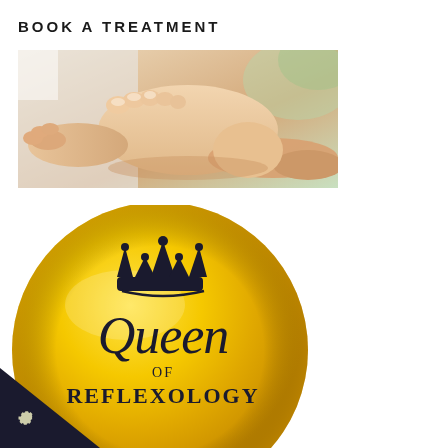BOOK A TREATMENT
[Figure (photo): A therapist's hands performing reflexology on a patient's foot, close-up photo with warm skin tones and a blurred green plant in the background.]
[Figure (logo): A gold circular badge/logo with a crown icon at the top and the text 'Queen OF REFLEXOLOGY' in elegant script and serif fonts on a golden background.]